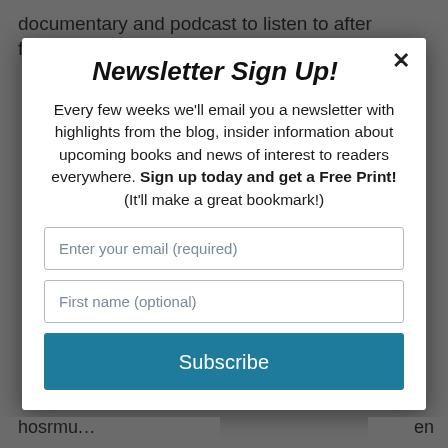documentary and podcast to listen to after finishing the
Newsletter Sign Up!
Every few weeks we'll email you a newsletter with highlights from the blog, insider information about upcoming books and news of interest to readers everywhere. Sign up today and get a Free Print! (It'll make a great bookmark!)
Enter your email (required)
First name (optional)
Subscribe
hosrmu...